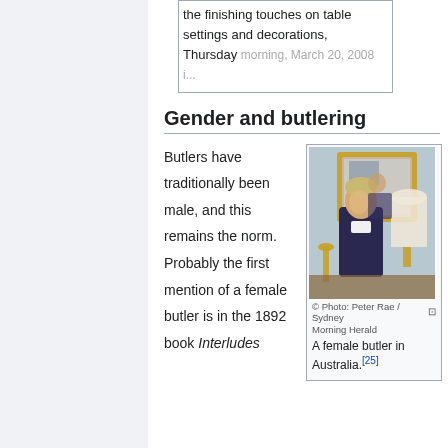the finishing touches on table settings and decorations, Thursday morning, March 20, 2008 in...
Gender and butlering
Butlers have traditionally been male, and this remains the norm. Probably the first mention of a female butler is in the 1892 book Interludes
[Figure (photo): A female butler in a formal setting, standing in front of a large ornate gold-framed mirror with a lamp on a table. Photo credit: Peter Rae / Sydney Morning Herald.]
A female butler in Australia.[25]